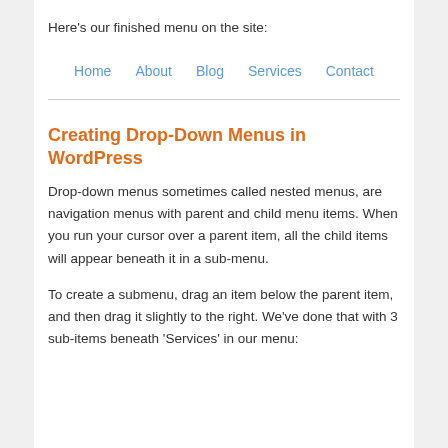Here's our finished menu on the site:
[Figure (screenshot): A horizontal navigation bar showing menu items: Home, About, Blog, Services, Contact in blue link color]
Creating Drop-Down Menus in WordPress
Drop-down menus sometimes called nested menus, are navigation menus with parent and child menu items. When you run your cursor over a parent item, all the child items will appear beneath it in a sub-menu.
To create a submenu, drag an item below the parent item, and then drag it slightly to the right. We've done that with 3 sub-items beneath 'Services' in our menu: